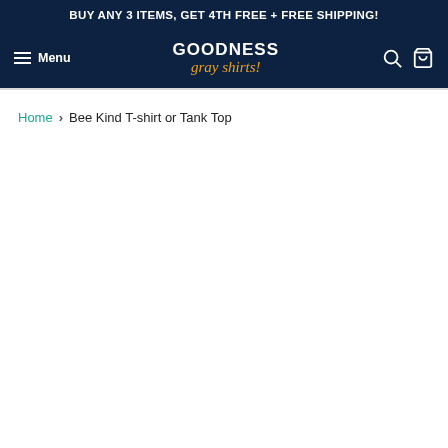BUY ANY 3 ITEMS, GET 4TH FREE + FREE SHIPPING!
[Figure (logo): Goodness Gray Shirts logo with hamburger menu, search icon and cart icon on dark navy background]
Home > Bee Kind T-shirt or Tank Top